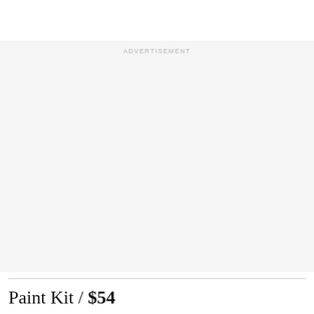[Figure (other): Advertisement placeholder block with light gray background and 'ADVERTISEMENT' label at top center]
Paint Kit / $54